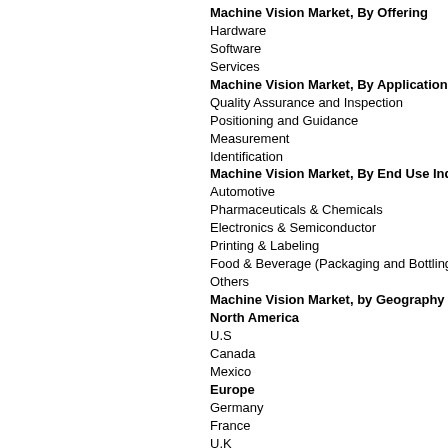Machine Vision Market, By Offering
Hardware
Software
Services
Machine Vision Market, By Application
Quality Assurance and Inspection
Positioning and Guidance
Measurement
Identification
Machine Vision Market, By End Use Industry
Automotive
Pharmaceuticals & Chemicals
Electronics & Semiconductor
Printing & Labeling
Food & Beverage (Packaging and Bottling)
Others
Machine Vision Market, by Geography
North America
U.S
Canada
Mexico
Europe
Germany
France
U.K
Rest of Europe
Asia Pacific
China
Japan
India